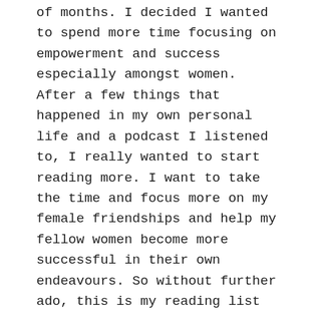of months. I decided I wanted to spend more time focusing on empowerment and success especially amongst women. After a few things that happened in my own personal life and a podcast I listened to, I really wanted to start reading more. I want to take the time and focus more on my female friendships and help my fellow women become more successful in their own endeavours. So without further ado, this is my reading list for spring 2018.
The Hate You Give by Angie Thomas
I decided to pick up this book because everyone won't stop talking about it. From